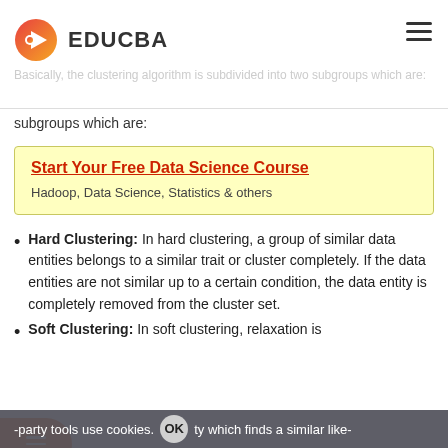EDUCBA
Basically, the clustering algorithm is subdivided into two subgroups which are:
Start Your Free Data Science Course
Hadoop, Data Science, Statistics & others
Hard Clustering: In hard clustering, a group of similar data entities belongs to a similar trait or cluster completely. If the data entities are not similar up to a certain condition, the data entity is completely removed from the cluster set.
Soft Clustering: In soft clustering, relaxation is
-party tools use cookies. OK. ty which finds a similar like-